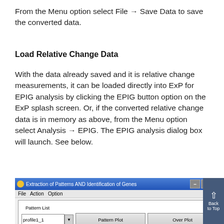From the Menu option select File → Save Data to save the converted data.
Load Relative Change Data
With the data already saved and it is relative change measurements, it can be loaded directly into ExP for EPIG analysis by clicking the EPIG button option on the ExP splash screen. Or, if the converted relative change data is in memory as above, from the Menu option select Analysis → EPIG. The EPIG analysis dialog box will launch. See below.
[Figure (screenshot): Screenshot of 'Extraction of Patterns AND Identification of Genes' software dialog with File, Action, Option menu bar, a Pattern List group box showing a 'profile1_1' dropdown, Pattern Plot button, Over Plot button, and a partial second row with Pattern Group, EMD plot, Spectrum labels.]